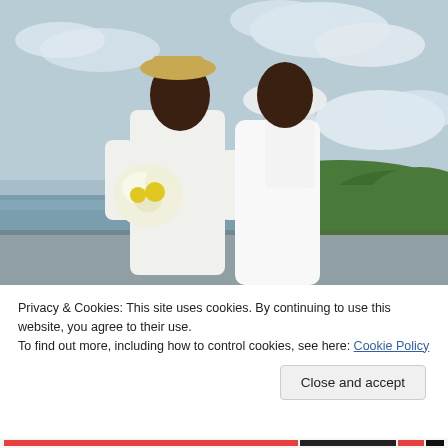[Figure (photo): Wedding photo of a bride and groom embracing and looking at each other outdoors near a lake. The groom wears a white suit and tan hat; the bride wears a white dress, veil, and holds a bouquet of white and yellow flowers.]
Privacy & Cookies: This site uses cookies. By continuing to use this website, you agree to their use.
To find out more, including how to control cookies, see here: Cookie Policy
Close and accept